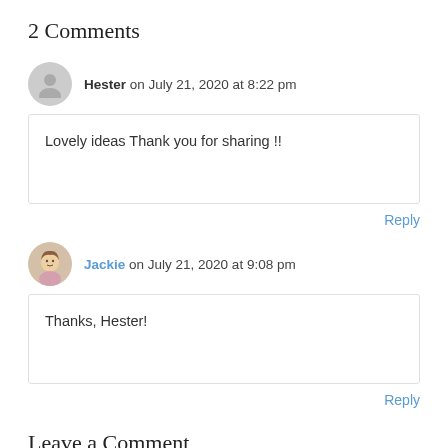2 Comments
Hester on July 21, 2020 at 8:22 pm
Lovely ideas Thank you for sharing !!
Reply
Jackie on July 21, 2020 at 9:08 pm
Thanks, Hester!
Reply
Leave a Comment